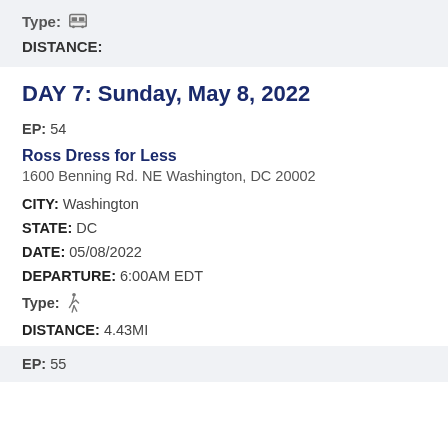Type: [bus icon]
DISTANCE:
DAY 7: Sunday, May 8, 2022
EP: 54
Ross Dress for Less
1600 Benning Rd. NE Washington, DC 20002
CITY: Washington
STATE: DC
DATE: 05/08/2022
DEPARTURE: 6:00AM EDT
Type: [walk icon]
DISTANCE: 4.43MI
EP: 55